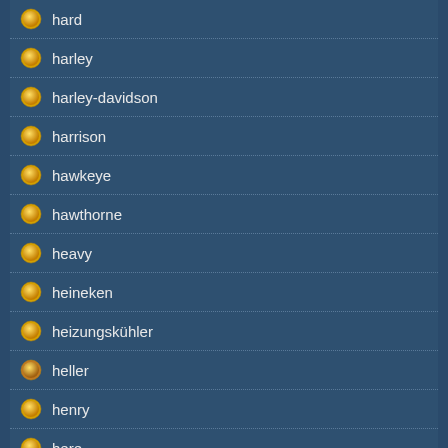hard
harley
harley-davidson
harrison
hawkeye
hawthorne
heavy
heineken
heizungskühler
heller
henry
here
hidraulic
higgins
high